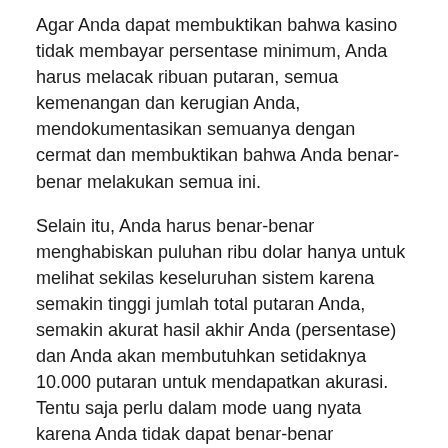Agar Anda dapat membuktikan bahwa kasino tidak membayar persentase minimum, Anda harus melacak ribuan putaran, semua kemenangan dan kerugian Anda, mendokumentasikan semuanya dengan cermat dan membuktikan bahwa Anda benar-benar melakukan semua ini.
Selain itu, Anda harus benar-benar menghabiskan puluhan ribu dolar hanya untuk melihat sekilas keseluruhan sistem karena semakin tinggi jumlah total putaran Anda, semakin akurat hasil akhir Anda (persentase) dan Anda akan membutuhkan setidaknya 10.000 putaran untuk mendapatkan akurasi. Tentu saja perlu dalam mode uang nyata karena Anda tidak dapat benar-benar melakukannya dalam uang bermain karena peluang dalam mode itu jauh berbeda (mode uang bermain sebenarnya memiliki keuntungan pemain untuk menarik Anda masuk).
...